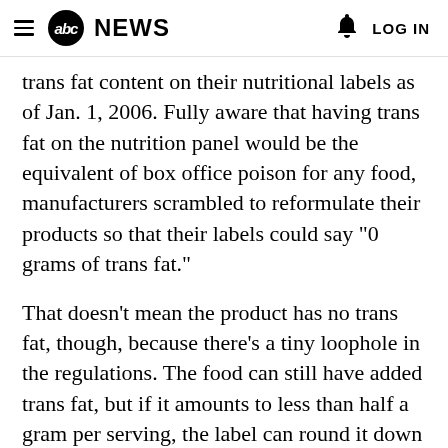abc NEWS  LOG IN
trans fat content on their nutritional labels as of Jan. 1, 2006. Fully aware that having trans fat on the nutrition panel would be the equivalent of box office poison for any food, manufacturers scrambled to reformulate their products so that their labels could say "0 grams of trans fat."
That doesn't mean the product has no trans fat, though, because there's a tiny loophole in the regulations. The food can still have added trans fat, but if it amounts to less than half a gram per serving, the label can round it down and say "0 grams trans fat." Of course, eat a few servings of the stuff, which Americans…